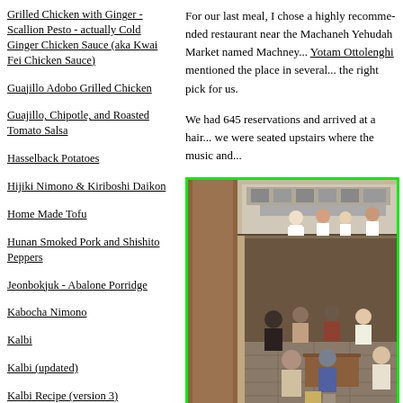Grilled Chicken with Ginger - Scallion Pesto - actually Cold Ginger Chicken Sauce (aka Kwai Fei Chicken Sauce)
Guajillo Adobo Grilled Chicken
Guajillo, Chipotle, and Roasted Tomato Salsa
Hasselback Potatoes
Hijiki Nimono & Kiriboshi Daikon
Home Made Tofu
Hunan Smoked Pork and Shishito Peppers
Jeonbokjuk - Abalone Porridge
Kabocha Nimono
Kalbi
Kalbi (updated)
Kalbi Recipe (version 3)
Karei Karaage
Katsu Don
Kelaguen (kinda) and Fast Finadene
For our last meal, I chose a highly recommended restaurant near the Machaneh Yehudah Market named Machney... Yotam Ottolenghi mentioned the place in several... the right pick for us.
We had 645 reservations and arrived at a hair... we were seated upstairs where the music and...
[Figure (photo): Interior photo of a busy restaurant showing an open kitchen with chefs working, diners seated at tables, with wood and stone decor. Photo has a bright green border.]